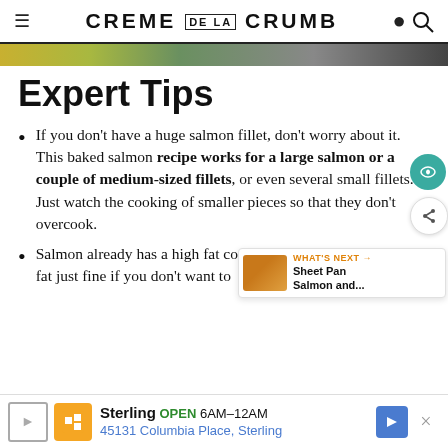CREME DE LA CRUMB
[Figure (photo): Food photo strip at top of page showing salmon dish with vegetables]
Expert Tips
If you don't have a huge salmon fillet, don't worry about it. This baked salmon recipe works for a large salmon or a couple of medium-sized fillets, or even several small fillets. Just watch the cooking of smaller pieces so that they don't overcook.
Salmon already has a high fat content and can cook in its own fat just fine if you don't want to add butter or oil. So you don't have to add it, just be sure to...
[Figure (screenshot): What's Next widget showing Sheet Pan Salmon and... advertisement thumbnail]
[Figure (screenshot): Ad banner for Sterling restaurant: OPEN 6AM-12AM, 45131 Columbia Place, Sterling]